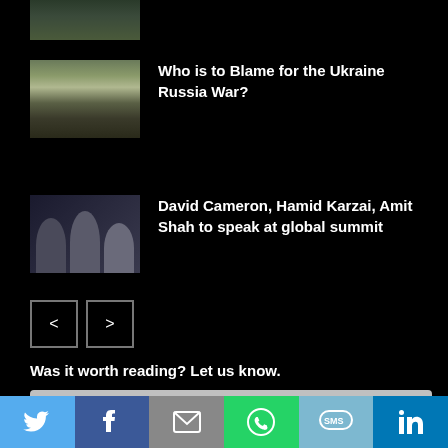[Figure (photo): Partial thumbnail of a military/landscape scene at top]
[Figure (photo): Thumbnail showing military helicopters over flat landscape for Ukraine Russia War article]
Who is to Blame for the Ukraine Russia War?
[Figure (photo): Thumbnail showing David Cameron, Hamid Karzai, and Amit Shah]
David Cameron, Hamid Karzai, Amit Shah to speak at global summit
< >
Was it worth reading? Let us know.
Enter your comment here...